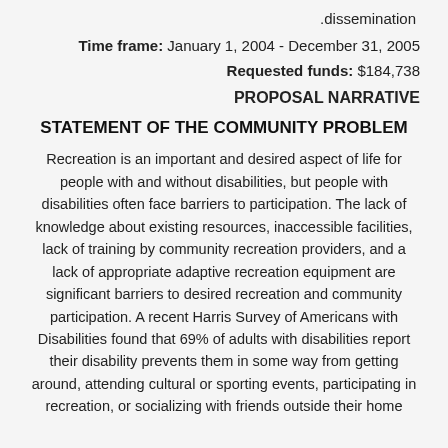.dissemination
Time frame: January 1, 2004 - December 31, 2005
Requested funds: $184,738
PROPOSAL NARRATIVE
STATEMENT OF THE COMMUNITY PROBLEM
Recreation is an important and desired aspect of life for people with and without disabilities, but people with disabilities often face barriers to participation. The lack of knowledge about existing resources, inaccessible facilities, lack of training by community recreation providers, and a lack of appropriate adaptive recreation equipment are significant barriers to desired recreation and community participation. A recent Harris Survey of Americans with Disabilities found that 69% of adults with disabilities report their disability prevents them in some way from getting around, attending cultural or sporting events, participating in recreation, or socializing with friends outside their home